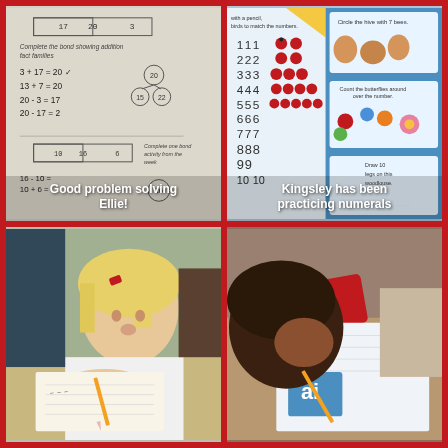[Figure (photo): Child's math worksheet showing number bonds and equations: 3+17=20, 13+7=20, 20-3=19, 20-17=2, with tree diagrams and boxes]
Good problem solving Ellie!
[Figure (photo): Open children's counting book showing numerals 1-10 with ladybug illustrations, and activity pages: Circle the hive with 7 bees, Count the butterflies, Draw 10 legs on this woodlouse]
Kingsley has been practicing numerals
[Figure (photo): Young blonde girl with red bow clip in hair, leaning over a worksheet writing with a pencil, at a desk]
[Figure (photo): Child writing on a worksheet with a pencil, pencil case with coloured pencils nearby, worksheet shows 'ai' phonics activity]